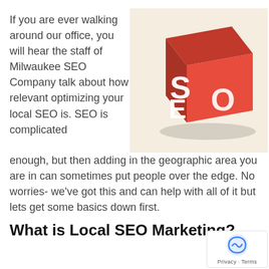If you are ever walking around our office, you will hear the staff of Milwaukee SEO Company talk about how relevant optimizing your local SEO is. SEO is complicated enough, but then adding in the geographic area you are in can sometimes put people over the edge. No worries- we've got this and can help with all of it but lets get some basics down first.
[Figure (illustration): A red 3D cube with the letters S, E, O printed in white on its visible faces, set against a light beige/cream background.]
What is Local SEO Marketing?